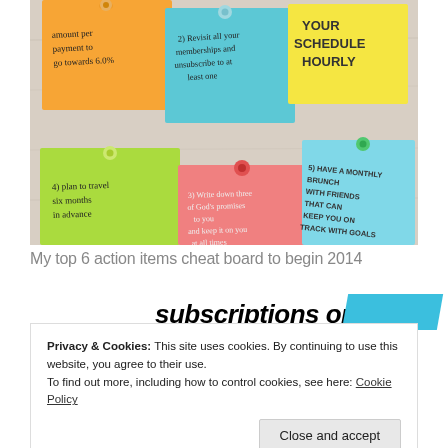[Figure (photo): Photo of colorful sticky notes (orange, teal/cyan, yellow, green, pink, light blue) pinned to a corkboard/wall surface. Notes contain handwritten text: 1) amount per payment to go towards 6.0%, 2) Revisit all your memberships and unsubscribe to at least one, 3) Write down three of God's promises to you and keep it on you at all times, 4) plan to travel six months in advance, 5) HAVE A MONTHLY BRUNCH WITH FRIENDS THAT CAN KEEP YOU ON TRACK WITH GOALS, and a yellow note: YOUR SCHEDULE HOURLY.]
My top 6 action items cheat board to begin 2014
subscriptions online
Privacy & Cookies: This site uses cookies. By continuing to use this website, you agree to their use.
To find out more, including how to control cookies, see here: Cookie Policy